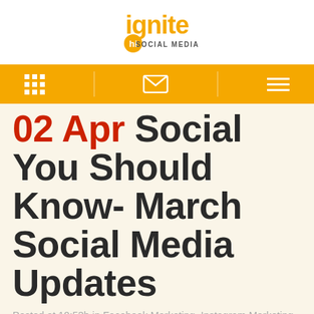[Figure (logo): Ignite Social Media logo with orange text and 'hi' badge]
Navigation bar with grid icon, envelope icon, and hamburger menu on orange background
02 Apr Social You Should Know- March Social Media Updates
Posted at 10:53h in Facebook Marketing, Instagram Marketing, Social Media Trends, Social Mobile Marketing by Megan Burrows
Social media is always evolving and